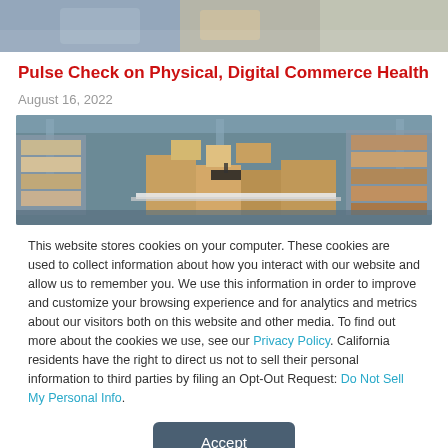[Figure (photo): Top banner photo of people (partially visible, cropped at top)]
Pulse Check on Physical, Digital Commerce Health
August 16, 2022
[Figure (photo): Warehouse interior with cardboard boxes and shelving]
This website stores cookies on your computer. These cookies are used to collect information about how you interact with our website and allow us to remember you. We use this information in order to improve and customize your browsing experience and for analytics and metrics about our visitors both on this website and other media. To find out more about the cookies we use, see our Privacy Policy. California residents have the right to direct us not to sell their personal information to third parties by filing an Opt-Out Request: Do Not Sell My Personal Info.
Accept